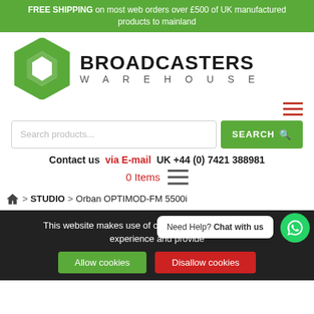FREE SHIPPING on most web orders over £500 of UK manufactured products to mainland
[Figure (logo): Broadcasters Warehouse logo with green hexagon icon and bold BROADCASTERS WAREHOUSE text]
[Figure (screenshot): Search bar with placeholder 'Search products...' and green SEARCH button]
Contact us  via E-mail  UK +44 (0) 7421 388981
0 Items
Home > STUDIO > Orban OPTIMOD-FM 5500i
This website makes use of cookies to enhance browsing experience and provide
Need Help? Chat with us
Allow cookies
Disallow cookies